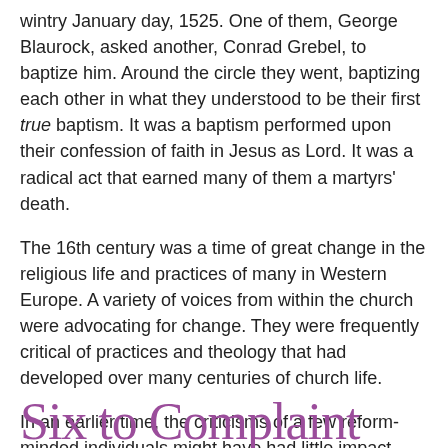wintry January day, 1525. One of them, George Blaurock, asked another, Conrad Grebel, to baptize him. Around the circle they went, baptizing each other in what they understood to be their first true baptism. It was a baptism performed upon their confession of faith in Jesus as Lord. It was a radical act that earned many of them a martyrs' death.
The 16th century was a time of great change in the religious life and practices of many in Western Europe. A variety of voices from within the church were advocating for change. They were frequently critical of practices and theology that had developed over many centuries of church life.
In an earlier time, the criticisms of a few reform-minded individuals might have had little impact. Technology, however, had a hand in changing that. Continue reading →
Six to Complaint